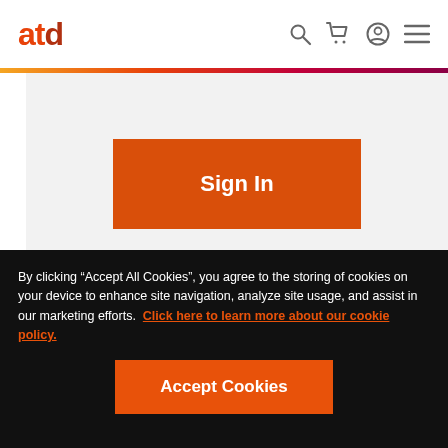[Figure (logo): ATD logo with orange/red stylized text]
[Figure (screenshot): Navigation icons: search, cart, account, menu]
Sign In
[Figure (photo): Blurred circular avatar photo of Sushil Barkur]
Sushil Barkur
By clicking “Accept All Cookies”, you agree to the storing of cookies on your device to enhance site navigation, analyze site usage, and assist in our marketing efforts.  Click here to learn more about our cookie policy.
Accept Cookies